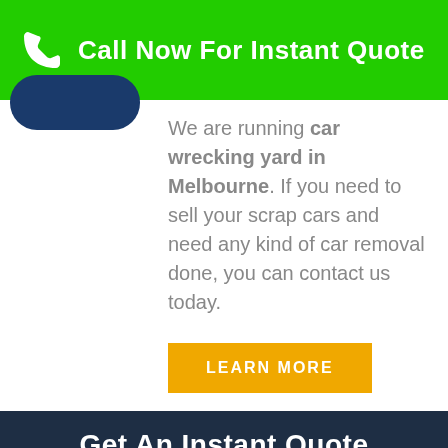Call Now For Instant Quote
We are running car wrecking yard in Melbourne. If you need to sell your scrap cars and need any kind of car removal done, you can contact us today.
LEARN MORE
Get An Instant Quote
Name